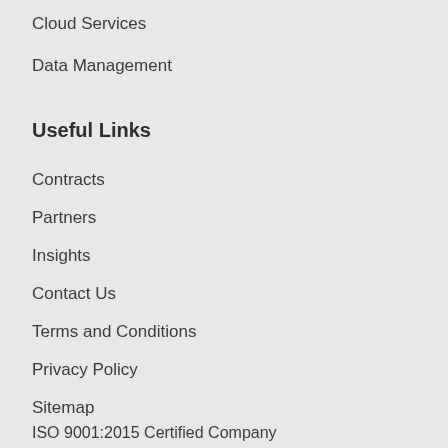Cloud Services
Data Management
Useful Links
Contracts
Partners
Insights
Contact Us
Terms and Conditions
Privacy Policy
Sitemap
ISO 9001:2015 Certified Company